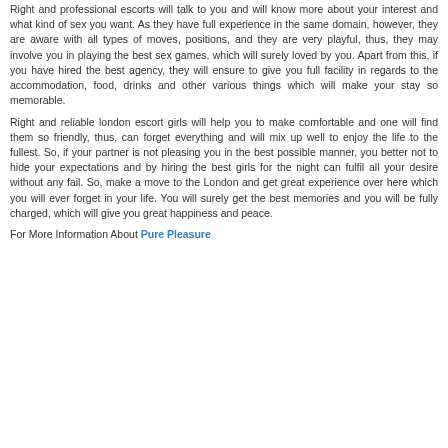Right and professional escorts will talk to you and will know more about your interest and what kind of sex you want. As they have full experience in the same domain, however, they are aware with all types of moves, positions, and they are very playful, thus, they may involve you in playing the best sex games, which will surely loved by you. Apart from this, if you have hired the best agency, they will ensure to give you full facility in regards to the accommodation, food, drinks and other various things which will make your stay so memorable.
Right and reliable london escort girls will help you to make comfortable and one will find them so friendly, thus, can forget everything and will mix up well to enjoy the life to the fullest. So, if your partner is not pleasing you in the best possible manner, you better not to hide your expectations and by hiring the best girls for the night can fulfil all your desire without any fail. So, make a move to the London and get great experience over here which you will ever forget in your life. You will surely get the best memories and you will be fully charged, which will give you great happiness and peace.
For More Information About Pure Pleasure